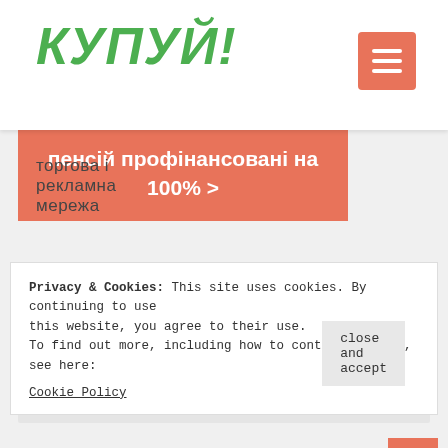КУПУЙ!
торгова і рекламна мережа
[Figure (other): Hamburger menu button (orange/salmon square with three white horizontal lines)]
пенсій профінансовані на 100% >
Privacy & Cookies: This site uses cookies. By continuing to use this website, you agree to their use.
To find out more, including how to control cookies, see here:

Cookie Policy
close and accept